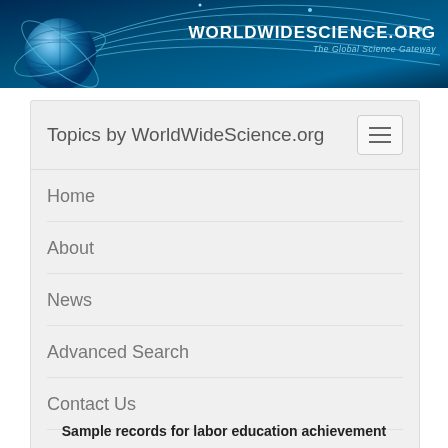[Figure (illustration): WorldWideScience.org website header banner with globe graphic, decorative lines, and site title/tagline on dark blue background]
Topics by WorldWideScience.org
Home
About
News
Advanced Search
Contact Us
Site Map
Help
Sample records for labor education achievement